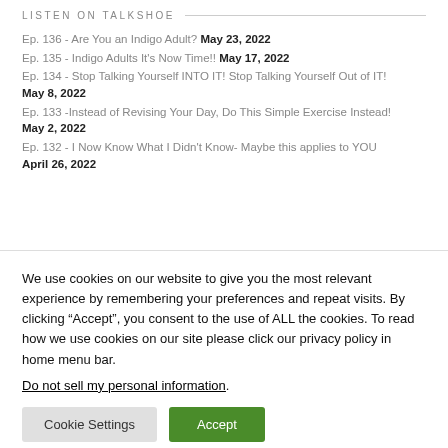LISTEN ON TALKSHOE
Ep. 136 - Are You an Indigo Adult? May 23, 2022
Ep. 135 - Indigo Adults It's Now Time!! May 17, 2022
Ep. 134 - Stop Talking Yourself INTO IT! Stop Talking Yourself Out of IT! May 8, 2022
Ep. 133 -Instead of Revising Your Day, Do This Simple Exercise Instead! May 2, 2022
Ep. 132 - I Now Know What I Didn't Know- Maybe this applies to YOU April 26, 2022
We use cookies on our website to give you the most relevant experience by remembering your preferences and repeat visits. By clicking “Accept”, you consent to the use of ALL the cookies. To read how we use cookies on our site please click our privacy policy in home menu bar. Do not sell my personal information.